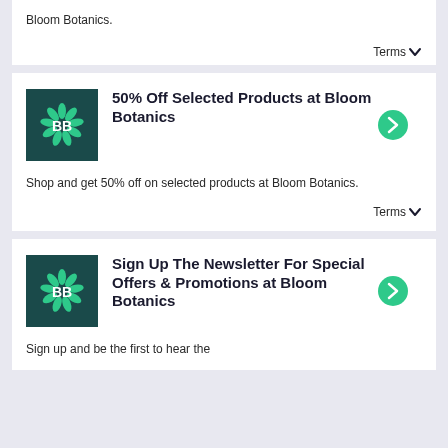Bloom Botanics.
Terms
[Figure (logo): Bloom Botanics logo: dark teal square with green flower/leaf design and white BB text]
50% Off Selected Products at Bloom Botanics
Shop and get 50% off on selected products at Bloom Botanics.
Terms
[Figure (logo): Bloom Botanics logo: dark teal square with green flower/leaf design and white BB text]
Sign Up The Newsletter For Special Offers & Promotions at Bloom Botanics
Sign up and be the first to hear the